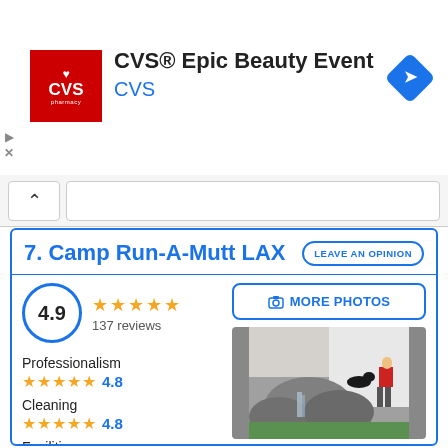[Figure (screenshot): CVS Epic Beauty Event advertisement banner with CVS pharmacy logo, navigation icon]
7. Camp Run-A-Mutt LAX
LEAVE AN OPINION
4.9
137 reviews
MORE PHOTOS
Professionalism
4.8
Cleaning
4.8
Facilities
4.2
Prices
4.6
HOW TO GET
TO CALL
Attention